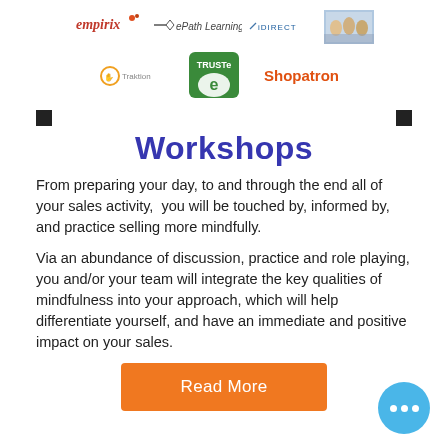[Figure (logo): Row of company logos: Empirix, ePathLearning, iDirect Technologies, group photo]
[Figure (logo): Row of logos: Traktion, TRUSTe, Shopatron]
Workshops
From preparing your day, to and through the end all of your sales activity,  you will be touched by, informed by, and practice selling more mindfully.
Via an abundance of discussion, practice and role playing, you and/or your team will integrate the key qualities of mindfulness into your approach, which will help differentiate yourself, and have an immediate and positive impact on your sales.
[Figure (other): Orange 'Read More' button]
[Figure (other): Blue chat/more options bubble with three white dots]